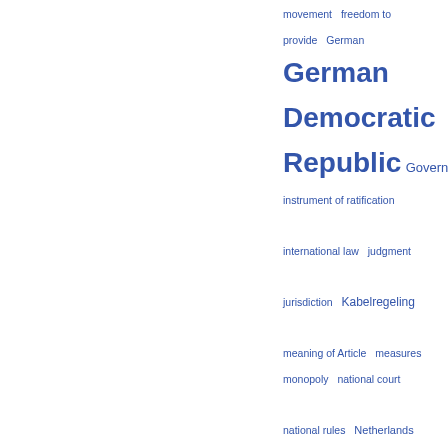[Figure (other): Tag cloud of legal index terms in blue, varying font sizes indicating frequency/importance. Terms include: movement, freedom to provide, German, German Democratic Republic, Government, instrument of ratification, international law, judgment, jurisdiction, Kabelregeling, meaning of Article, measures, monopoly, national court, national rules, Netherlands, notification, Outer Space, Outer Space Treaty, paragraph, particular, principles, programme services, prohibition, Project West Ford, provide services, provision of services, question, radio]